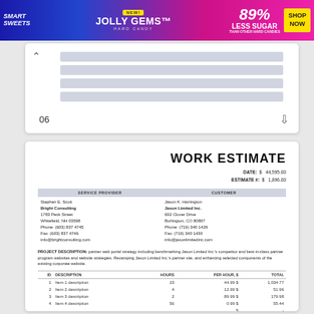[Figure (other): Smart Sweets Jolly Gems Hard Candy advertisement banner. Blue/pink gradient background with candy imagery. Text: NEW! JOLLY GEMS HARD CANDY, 89% LESS SUGAR THAN OTHER HARD CANDIES, SHOP NOW.]
06
WORK ESTIMATE
DATE: $ 44,595.00
ESTIMATE #: $ 1,896.00
| SERVICE PROVIDER | CUSTOMER |
| --- | --- |
| Stephen E. Scott
Bright Consulting
1783 Peck Street
Whitefield, NH 03598
Phone: (603) 837 4745
Fax: (603) 837 4746
info@brightconsulting.com | Jason K. Harrington
Jason Limited Inc.
692 Clover Drive
Burlington, CO 80807
Phone: (719) 340 1429
Fax: (719) 340 1430
info@jasonlimitedinc.com |
PROJECT DESCRIPTION: partner web portal strategy including benchmarking Jason Limited Inc.'s competitor and best-in-class partner program websites and website strategies. Revamping Jason Limited Inc.'s partner site, and enhancing selected components of the existing corporate website.
| ID | DESCRIPTION | HOURS | PER HOUR, $ | TOTAL |
| --- | --- | --- | --- | --- |
| 1 | Item 1 description | 23 | 44.99 $ | 1,034.77 |
| 2 | Item 2 description | 4 | 12.99 $ | 51.96 |
| 3 | Item 3 description | 2 | 89.99 $ | 179.98 |
| 4 | Item 4 description | 56 | 0.99 $ | 55.44 |
|  |  |  | $ | - |